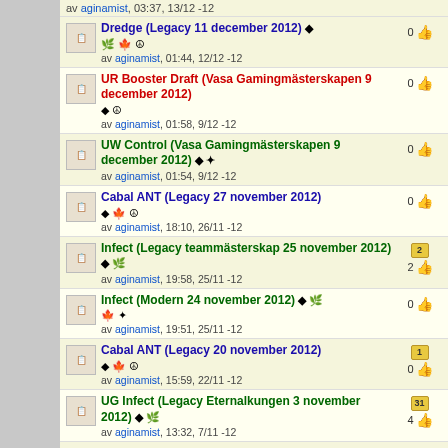av aginamist, 03:37, 13/12 -12
Dredge (Legacy 11 december 2012) — 0 likes
UR Booster Draft (Vasa Gamingmästerskapen 9 december 2012) — 0 likes
UW Control (Vasa Gamingmästerskapen 9 december 2012) — 0 likes
Cabal ANT (Legacy 27 november 2012) — 0 likes
Infect (Legacy teammästerskap 25 november 2012) — 2 saves, 2 likes
Infect (Modern 24 november 2012) — 0 likes
Cabal ANT (Legacy 20 november 2012) — 1 save, 0 likes
UG Infect (Legacy Eternalkungen 3 november 2012) — 31 saves, 4 likes
Grixis Delver (Vintage BSK 3 november 2012) — 0 likes
The Deck 93/94 (BSK 2 november 2012) — 3 saves